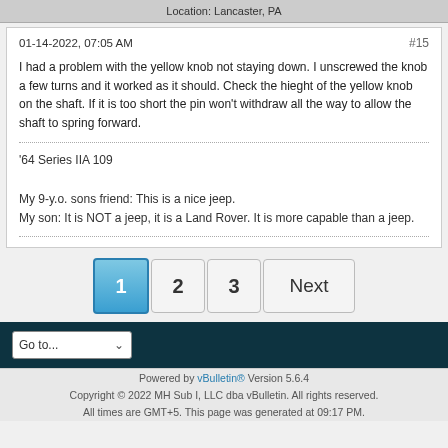Location: Lancaster, PA
01-14-2022, 07:05 AM
#15
I had a problem with the yellow knob not staying down. I unscrewed the knob a few turns and it worked as it should. Check the hieght of the yellow knob on the shaft. If it is too short the pin won't withdraw all the way to allow the shaft to spring forward.
'64 Series IIA 109

My 9-y.o. sons friend: This is a nice jeep.
My son: It is NOT a jeep, it is a Land Rover. It is more capable than a jeep.
1  2  3  Next
Go to...
Powered by vBulletin® Version 5.6.4
Copyright © 2022 MH Sub I, LLC dba vBulletin. All rights reserved.
All times are GMT+5. This page was generated at 09:17 PM.